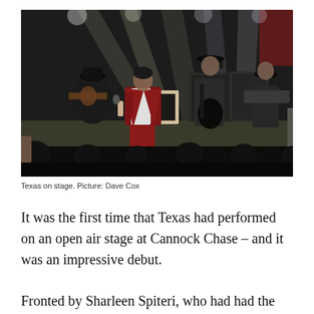[Figure (photo): Concert photo showing the band Texas performing on stage. A lead singer in a red velvet suit holds a microphone. A guitarist in dark clothing plays to the right. Another musician in a hat stands further right. A bassist sits at left. Stage lights illuminate the scene from behind. Audience heads visible at the bottom.]
Texas on stage. Picture: Dave Cox
It was the first time that Texas had performed on an open air stage at Cannock Chase – and it was an impressive debut.
Fronted by Sharleen Spiteri, who had had the...